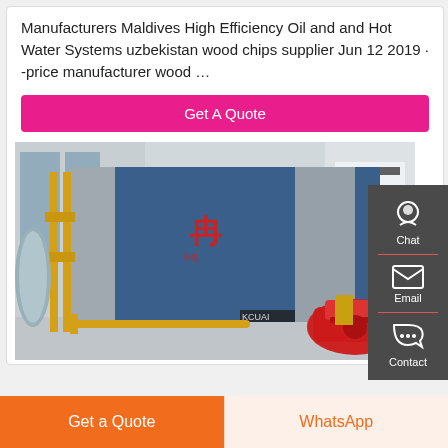Manufacturers Maldives High Efficiency Oil and and Hot Water Systems uzbekistan wood chips supplier Jun 12 2019 · -price manufacturer wood …
Get A Quote
[Figure (photo): Industrial boiler/hot water system in a factory room with blue exterior, yellow gas pipes, and a red burner attached at the front]
Chat
Email
Contact
Get a Quote
WhatsApp